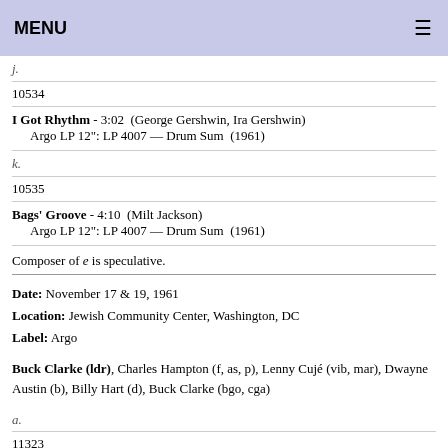MENU
j.
10534
I Got Rhythm - 3:02  (George Gershwin, Ira Gershwin)
    Argo LP 12": LP 4007 — Drum Sum  (1961)
k.
10535
Bags' Groove - 4:10  (Milt Jackson)
    Argo LP 12": LP 4007 — Drum Sum  (1961)
Composer of e is speculative.
Date: November 17 & 19, 1961
Location: Jewish Community Center, Washington, DC
Label: Argo
Buck Clarke (ldr), Charles Hampton (f, as, p), Lenny Cujé (vib, mar), Dwayne Austin (b), Billy Hart (d), Buck Clarke (bgo, cga)
a.
11323
One Mint Julep - 4:40  (Rudolph Toombs) / arr: Charles Hampton
b.
11334